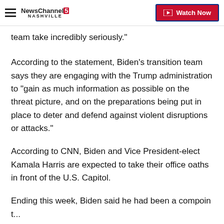NewsChannel 5 Nashville | Watch Now
team take incredibly seriously."
According to the statement, Biden's transition team says they are engaging with the Trump administration to "gain as much information as possible on the threat picture, and on the preparations being put in place to deter and defend against violent disruptions or attacks."
According to CNN, Biden and Vice President-elect Kamala Harris are expected to take their office oaths in front of the U.S. Capitol.
Ending this week, Biden said he had won an initiative...